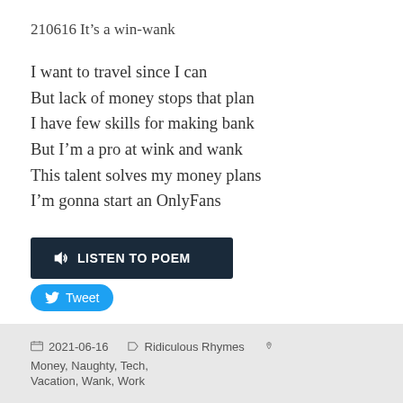210616
It’s a win-wank
I want to travel since I can
But lack of money stops that plan
I have few skills for making bank
But I’m a pro at wink and wank
This talent solves my money plans
I’m gonna start an OnlyFans
[Figure (other): Dark navy button labeled LISTEN TO POEM with speaker icon, and a blue Twitter Tweet button below]
2021-06-16   Ridiculous Rhymes   Money, Naughty, Tech, Vacation, Wank, Work